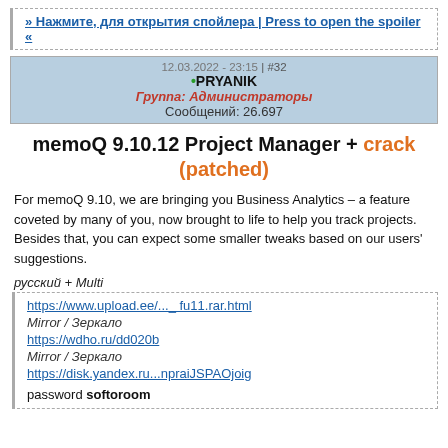» Нажмите, для открытия спойлера | Press to open the spoiler «
12.03.2022 - 23:15 | #32
•PRYANIK
Группа: Администраторы
Сообщений: 26.697
memoQ 9.10.12 Project Manager + crack (patched)
For memoQ 9.10, we are bringing you Business Analytics – a feature coveted by many of you, now brought to life to help you track projects. Besides that, you can expect some smaller tweaks based on our users' suggestions.
русский + Multi
https://www.upload.ee/..._ fu11.rar.html
Mirror / Зеркало
https://wdho.ru/dd020b
Mirror / Зеркало
https://disk.yandex.ru...npraiJSPAOjoig

password softoroom